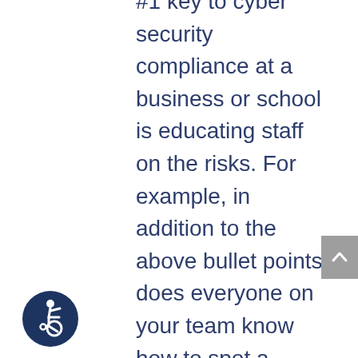#1 key to cyber security compliance at a business or school is educating staff on the risks. For example, in addition to the above bullet points, does everyone on your team know how to spot a Phishing email (see our earlier blog post, How to Spot a Phishing Email), or the risks of using a thumb drive (see our post, USB Security Risks: When Flash
[Figure (illustration): Accessibility icon: circular dark navy badge with white wheelchair user symbol]